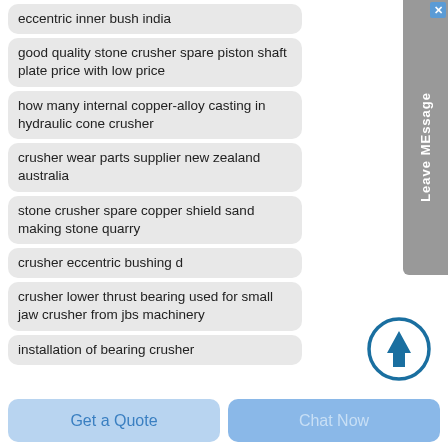eccentric inner bush india
good quality stone crusher spare piston shaft plate price with low price
how many internal copper-alloy casting in hydraulic cone crusher
crusher wear parts supplier new zealand australia
stone crusher spare copper shield sand making stone quarry
crusher eccentric bushing d
crusher lower thrust bearing used for small jaw crusher from jbs machinery
installation of bearing crusher
[Figure (other): Scroll to top circular button with upward arrow icon in blue outline style]
[Figure (other): Sidebar tab with X close button and vertical text 'Leave MEssage' on grey background]
Get a Quote
Chat Now